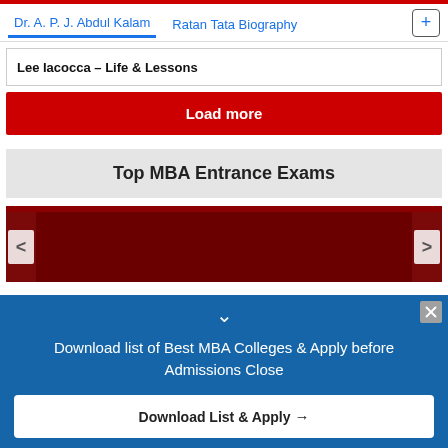Dr. A. P. J. Abdul Kalam   Ratan Tata Biography   +
Lee Iacocca – Life & Lessons
Load more
Top MBA Entrance Exams
[Figure (screenshot): Carousel with dark red background and left/right navigation arrows]
Download list of Best MBA Colleges & Apply before Admissions Close
Download List & Apply →